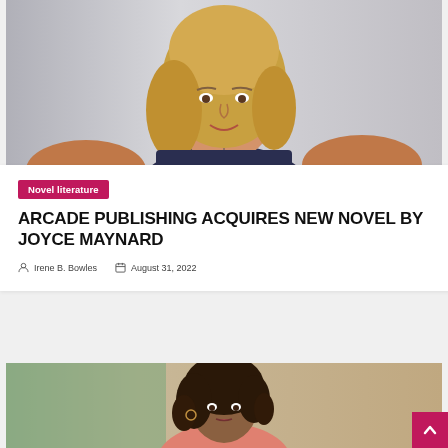[Figure (photo): Portrait photo of a middle-aged blonde woman in a dark sleeveless top with a pendant necklace, hands on hips, smiling at the camera against a light background.]
Novel literature
ARCADE PUBLISHING ACQUIRES NEW NOVEL BY JOYCE MAYNARD
Irene B. Bowles   August 31, 2022
[Figure (photo): Portrait photo of a young woman with curly dark hair wearing a pink/coral top, photographed indoors against a warm-toned background.]